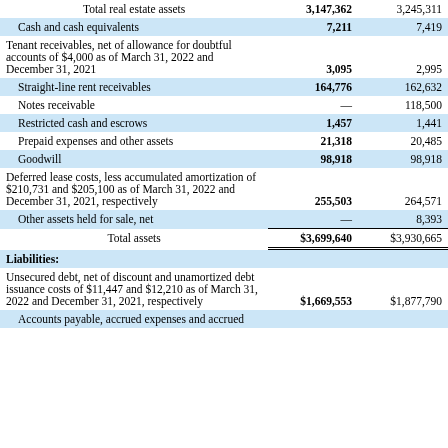|  | March 31, 2022 | December 31, 2021 |
| --- | --- | --- |
| Total real estate assets | 3,147,362 | 3,245,311 |
| Cash and cash equivalents | 7,211 | 7,419 |
| Tenant receivables, net of allowance for doubtful accounts of $4,000 as of March 31, 2022 and December 31, 2021 | 3,095 | 2,995 |
| Straight-line rent receivables | 164,776 | 162,632 |
| Notes receivable | — | 118,500 |
| Restricted cash and escrows | 1,457 | 1,441 |
| Prepaid expenses and other assets | 21,318 | 20,485 |
| Goodwill | 98,918 | 98,918 |
| Deferred lease costs, less accumulated amortization of $210,731 and $205,100 as of March 31, 2022 and December 31, 2021, respectively | 255,503 | 264,571 |
| Other assets held for sale, net | — | 8,393 |
| Total assets | $3,699,640 | $3,930,665 |
Liabilities:
| Unsecured debt, net of discount and unamortized debt issuance costs of $11,447 and $12,210 as of March 31, 2022 and December 31, 2021, respectively | $1,669,553 | $1,877,790 |
| Accounts payable, accrued expenses and accrued |  |  |